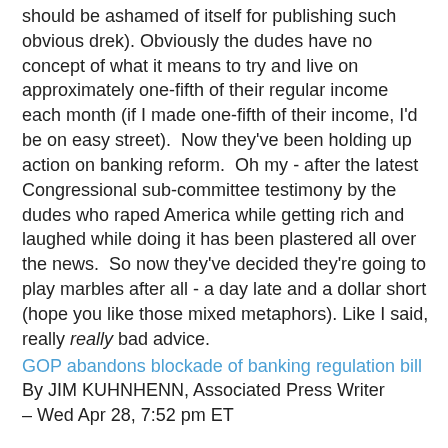should be ashamed of itself for publishing such obvious drek). Obviously the dudes have no concept of what it means to try and live on approximately one-fifth of their regular income each month (if I made one-fifth of their income, I'd be on easy street).  Now they've been holding up action on banking reform.  Oh my - after the latest Congressional sub-committee testimony by the dudes who raped America while getting rich and laughed while doing it has been plastered all over the news.  So now they've decided they're going to play marbles after all - a day late and a dollar short (hope you like those mixed metaphors). Like I said, really really bad advice.
GOP abandons blockade of banking regulation bill
By JIM KUHNHENN, Associated Press Writer
– Wed Apr 28, 7:52 pm ET
And, tee hee hee, from The Christian Science Monitor, "Noah's Ark discovered. Again."
By Benjamin Radford, LiveScience's Bad Science Columnist / April 28, 2010
A Chinese Christian filmmaker is the latest in a long line of